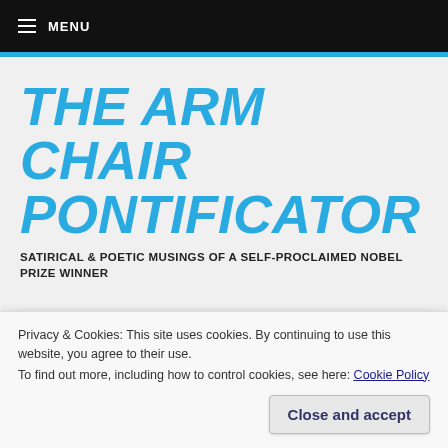≡ MENU
THE ARM CHAIR PONTIFICATOR
SATIRICAL & POETIC MUSINGS OF A SELF-PROCLAIMED NOBEL PRIZE WINNER
INTERNET STUD PZ MYERS
Privacy & Cookies: This site uses cookies. By continuing to use this website, you agree to their use.
To find out more, including how to control cookies, see here: Cookie Policy
Close and accept